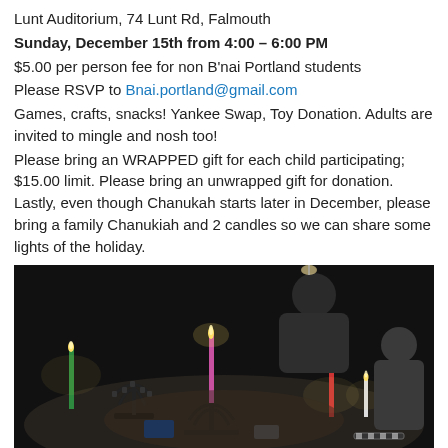Lunt Auditorium, 74 Lunt Rd, Falmouth
Sunday, December 15th from 4:00 – 6:00 PM
$5.00 per person fee for non B'nai Portland students
Please RSVP to Bnai.portland@gmail.com
Games, crafts, snacks! Yankee Swap, Toy Donation. Adults are invited to mingle and nosh too!
Please bring an WRAPPED gift for each child participating; $15.00 limit. Please bring an unwrapped gift for donation. Lastly, even though Chanukah starts later in December, please bring a family Chanukiah and 2 candles so we can share some lights of the holiday.
[Figure (photo): People gathered around a table with lit Chanukiahs (menorahs) with candles burning in a dark room, a child visible on the right side.]